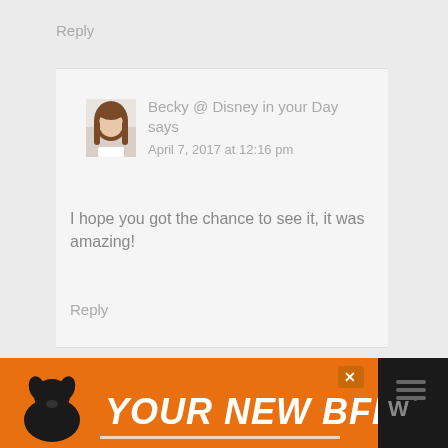Reply
[Figure (screenshot): Comment block with avatar photo of a young woman with long brown hair, name 'Becky @ Disney in your Day says', date 'April 7, 2017 at 12:16 pm', comment text 'I hope you got the chance to see it, it was amazing!', and a Reply link]
Becky @ Disney in your Day says
April 7, 2017 at 12:16 pm
I hope you got the chance to see it, it was amazing!
Reply
[Figure (infographic): Orange advertisement banner with black dog silhouette on left and bold white text 'YOUR NEW BFF' with close button X and a W° logo on dark right side]